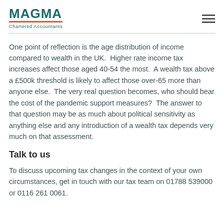MAGMA Chartered Accountants
One point of reflection is the age distribution of income compared to wealth in the UK.  Higher rate income tax increases affect those aged 40-54 the most.  A wealth tax above a £500k threshold is likely to affect those over-65 more than anyone else.  The very real question becomes, who should bear the cost of the pandemic support measures?  The answer to that question may be as much about political sensitivity as anything else and any introduction of a wealth tax depends very much on that assessment.
Talk to us
To discuss upcoming tax changes in the context of your own circumstances, get in touch with our tax team on 01788 539000 or 0116 261 0061.